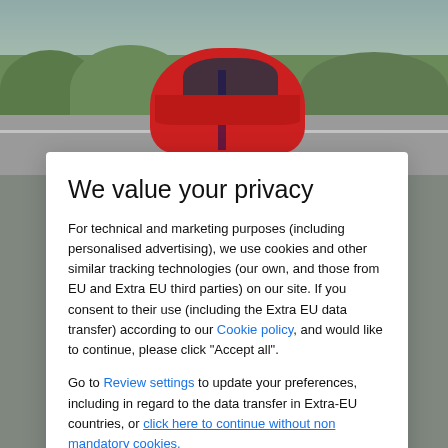[Figure (photo): Background scene showing a red sports car on a racing track with trees in background, partially obscured by a privacy consent modal dialog]
We value your privacy
For technical and marketing purposes (including personalised advertising), we use cookies and other similar tracking technologies (our own, and those from EU and Extra EU third parties) on our site. If you consent to their use (including the Extra EU data transfer) according to our Cookie policy, and would like to continue, please click "Accept all".
Go to Review settings to update your preferences, including in regard to the data transfer in Extra-EU countries, or click here to continue without non mandatory cookies.
ACCEPT ALL
location
39 locations show on map